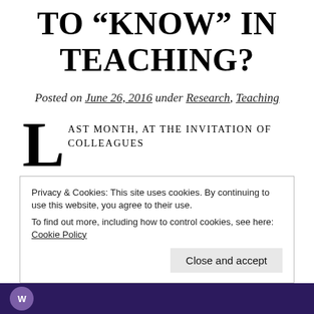TO “KNOW” IN TEACHING?
Posted on June 26, 2016 under Research, Teaching
LAST MONTH, AT THE INVITATION OF COLLEAGUES Manka Varghese and Ken Zeichner, I gave a lecture at the University of Washington College of Education.
Privacy & Cookies: This site uses cookies. By continuing to use this website, you agree to their use. To find out more, including how to control cookies, see here: Cookie Policy
Close and accept